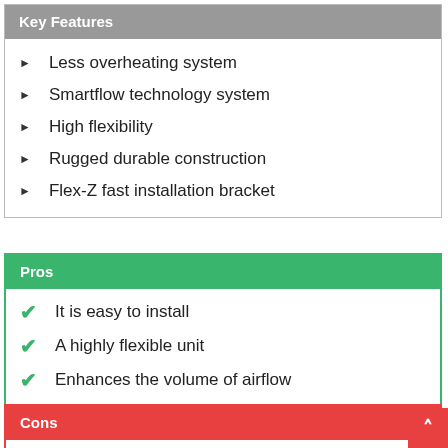Key Features
Less overheating system
Smartflow technology system
High flexibility
Rugged durable construction
Flex-Z fast installation bracket
Pros
It is easy to install
A highly flexible unit
Enhances the volume of airflow
Cons
It is costly